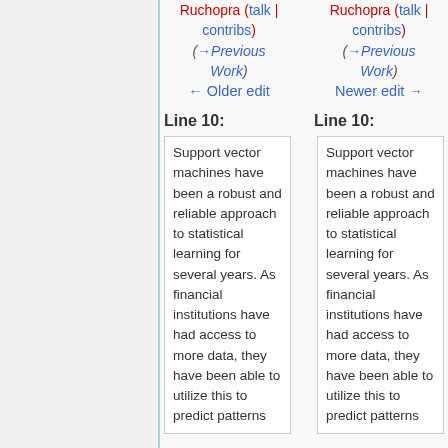Ruchopra (talk | contribs) (→Previous Work) ← Older edit
Ruchopra (talk | contribs) (→Previous Work) Newer edit →
Line 10:
Line 10:
Support vector machines have been a robust and reliable approach to statistical learning for several years. As financial institutions have had access to more data, they have been able to utilize this to predict patterns
Support vector machines have been a robust and reliable approach to statistical learning for several years. As financial institutions have had access to more data, they have been able to utilize this to predict patterns